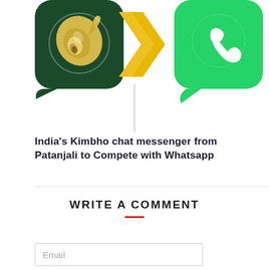[Figure (illustration): Three icons in a row: Kimbho app icon (dark green background with a conch shell), a yellow double-chevron arrow pointing right, and WhatsApp app icon (green background with white phone handset in speech bubble). A thin vertical line extends down from the arrow.]
India's Kimbho chat messenger from Patanjali to Compete with Whatsapp
WRITE A COMMENT